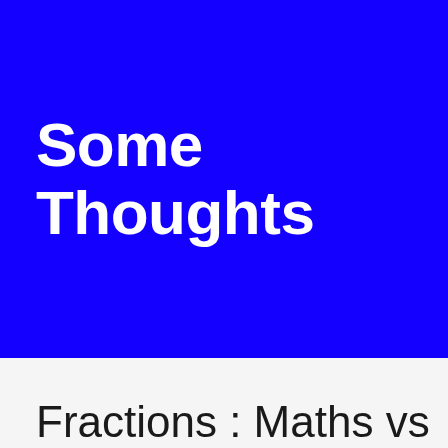Some Thoughts
Fractions : Maths vs